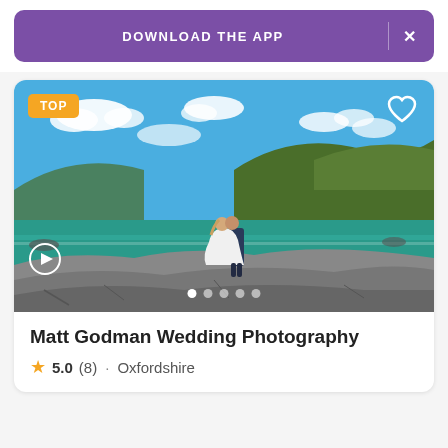[Figure (screenshot): Purple 'DOWNLOAD THE APP' banner with X close button]
[Figure (photo): Wedding couple kissing on rocky coastal landscape with blue sky, green hills and turquoise sea. 'TOP' badge in upper left, heart icon upper right, play button lower left, carousel dots at bottom.]
Matt Godman Wedding Photography
5.0 (8) · Oxfordshire